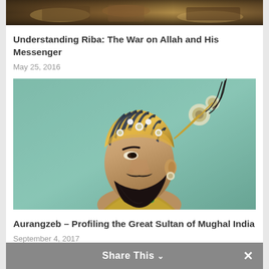[Figure (photo): Partial top image of what appears to be a historical or battle scene painting with dark earthy tones]
Understanding Riba: The War on Allah and His Messenger
May 25, 2016
[Figure (photo): Side profile portrait painting of Aurangzeb, Mughal emperor, wearing an ornate gold and blue striped turban with jeweled ornaments, with a dark beard, against a teal/green background]
Aurangzeb – Profiling the Great Sultan of Mughal India
September 4, 2017
Share This ∨  ×